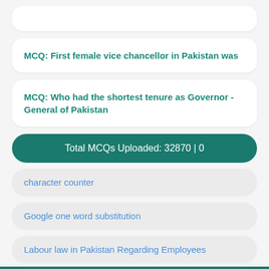MCQ: First female vice chancellor in Pakistan was
MCQ: Who had the shortest tenure as Governor - General of Pakistan
Total MCQs Uploaded: 32870 | 0
character counter
Google one word substitution
Labour law in Pakistan Regarding Employees
Top 10 Pakistani Dramas in 2020 Updated List